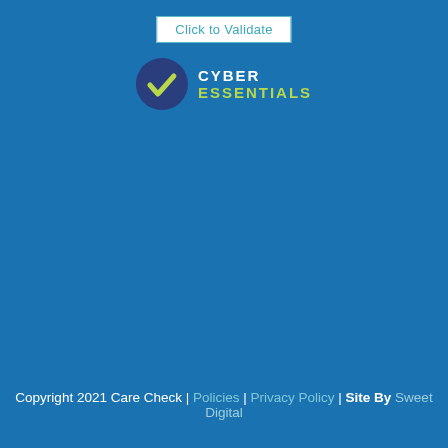[Figure (logo): Click to Validate button with border]
[Figure (logo): Cyber Essentials logo with dark blue checkmark circle and green/white text]
Copyright 2021 Care Check | Policies | Privacy Policy | Site By Sweet Digital